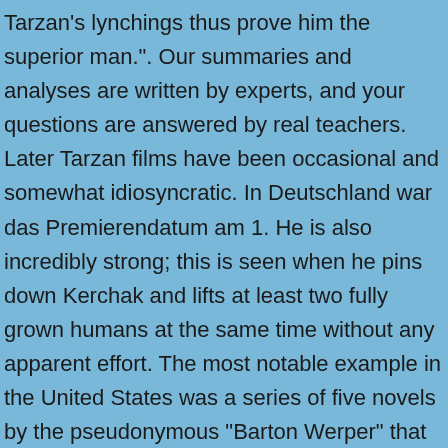Tarzan's lynchings thus prove him the superior man.". Our summaries and analyses are written by experts, and your questions are answered by real teachers. Later Tarzan films have been occasional and somewhat idiosyncratic. In Deutschland war das Premierendatum am 1. He is also incredibly strong; this is seen when he pins down Kerchak and lifts at least two fully grown humans at the same time without any apparent effort. The most notable example in the United States was a series of five novels by the pseudonymous "Barton Werper" that appeared 1964–65 by Gold Star Books (part of Charlton Comics). He takes romance seriously, as shown when he was forced to act in a movie about him in "Silver Screen" and was told to kiss a woman he didn't love saying how confusing acting was and also by refusing Queen La's advances towards him. In the novel, He is one of two Disney characters to meet their author. In chapter 9 of the book, two